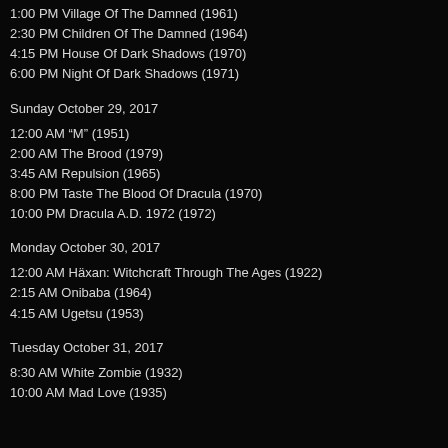1:00 PM Village Of The Damned (1961)
2:30 PM Children Of The Damned (1964)
4:15 PM House Of Dark Shadows (1970)
6:00 PM Night Of Dark Shadows (1971)
Sunday October 29, 2017
12:00 AM “M” (1951)
2:00 AM The Brood (1979)
3:45 AM Repulsion (1965)
8:00 PM Taste The Blood Of Dracula (1970)
10:00 PM Dracula A.D. 1972 (1972)
Monday October 30, 2017
12:00 AM Häxan: Witchcraft Through The Ages (1922)
2:15 AM Onibaba (1964)
4:15 AM Ugetsu (1953)
Tuesday October 31, 2017
8:30 AM White Zombie (1932)
10:00 AM Mad Love (1935)